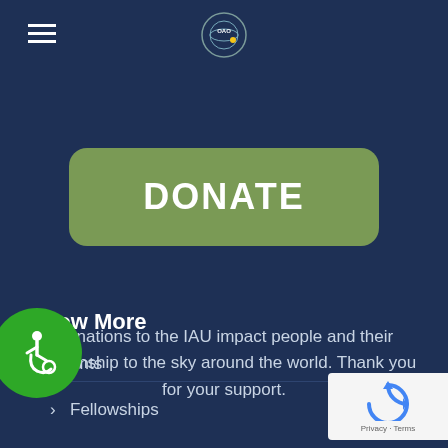IAU OAO navigation header with hamburger menu and logo
[Figure (other): DONATE button — large rounded green button with white bold text]
Donations to the IAU impact people and their relationship to the sky around the world. Thank you for your support.
Know More
ants
Fellowships
[Figure (other): Green accessibility wheelchair user badge icon]
[Figure (other): Google reCAPTCHA badge with Privacy and Terms links]